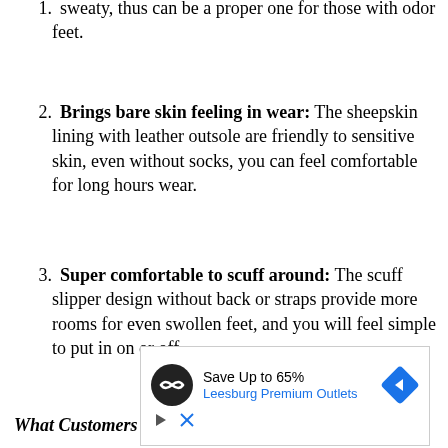Brings bare skin feeling in wear: The sheepskin lining with leather outsole are friendly to sensitive skin, even without socks, you can feel comfortable for long hours wear.
Super comfortable to scuff around: The scuff slipper design without back or straps provide more rooms for even swollen feet, and you will feel simple to put in on or off.
What Customers Say About It:
[Figure (other): Advertisement banner for Leesburg Premium Outlets: Save Up to 65%]